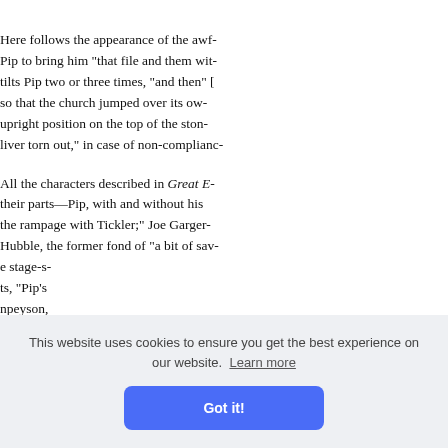Here follows the appearance of the awf- Pip to bring him "that file and them wit- tilts Pip two or three times, "and then" [ so that the church jumped over its ow- upright position on the top of the ston- liver torn out," in case of non-complianc-
All the characters described in Great E- their parts—Pip, with and without his the rampage with Tickler;" Joe Garger- Hubble, the former fond of "a bit of sav- e stage-s- ts, "Pip's npeyson, eant" an- nam, He- verted i- hree Hor-
(seriously) with the three Ho- "the little sluice house by the lime kil-